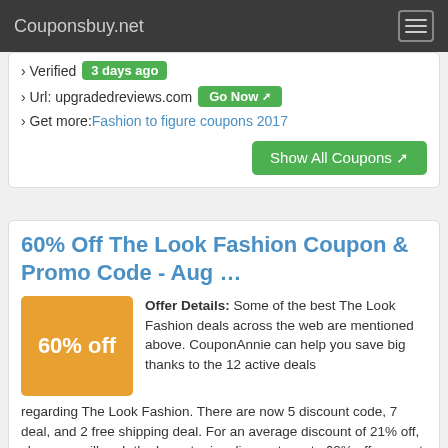Couponsbuy.net
› Verified  3 days ago
› Url: upgradedreviews.com  Go Now
› Get more: Fashion to figure coupons 2017
Show All Coupons
60% Off The Look Fashion Coupon & Promo Code - Aug …
Offer Details: Some of the best The Look Fashion deals across the web are mentioned above. CouponAnnie can help you save big thanks to the 12 active deals regarding The Look Fashion. There are now 5 discount code, 7 deal, and 2 free shipping deal. For an average discount of 21% off, shoppers will grab the lowest price discounts up to 60% off. respect the look coupon code
› Verified  1 days ago